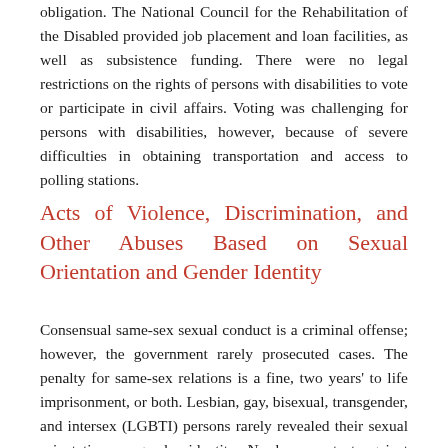obligation. The National Council for the Rehabilitation of the Disabled provided job placement and loan facilities, as well as subsistence funding. There were no legal restrictions on the rights of persons with disabilities to vote or participate in civil affairs. Voting was challenging for persons with disabilities, however, because of severe difficulties in obtaining transportation and access to polling stations.
Acts of Violence, Discrimination, and Other Abuses Based on Sexual Orientation and Gender Identity
Consensual same-sex sexual conduct is a criminal offense; however, the government rarely prosecuted cases. The penalty for same-sex relations is a fine, two years' to life imprisonment, or both. Lesbian, gay, bisexual, transgender, and intersex (LGBTI) persons rarely revealed their sexual orientation or gender identity. No laws protect against discrimination on the basis of sexual orientation or gender identity.